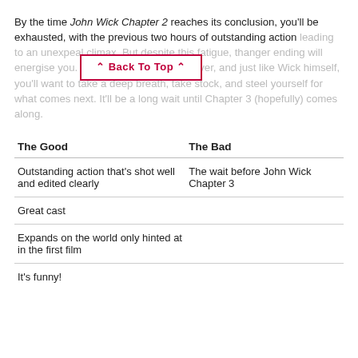By the time John Wick Chapter 2 reaches its conclusion, you'll be exhausted, with the previous two hours of outstanding action leading to an unexpe... al climax. But despite this fatigue, th... anger ending will energise you. John Wick's story is not over, and just like Wick himself, you'll want to take a deep breath, take stock, and steel yourself for what comes next. It'll be a long wait until Chapter 3 (hopefully) comes along.
| The Good | The Bad |
| --- | --- |
| Outstanding action that's shot well and edited clearly | The wait before John Wick Chapter 3 |
| Great cast |  |
| Expands on the world only hinted at in the first film |  |
| It's funny! |  |